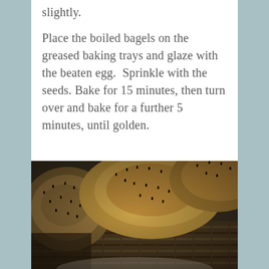slightly.
Place the boiled bagels on the greased baking trays and glaze with the beaten egg.  Sprinkle with the seeds. Bake for 15 minutes, then turn over and bake for a further 5 minutes, until golden.
[Figure (photo): Golden seeded bagels in a wicker basket, photographed from above at an angle, showing the seeds on the surface of the baked bagels.]